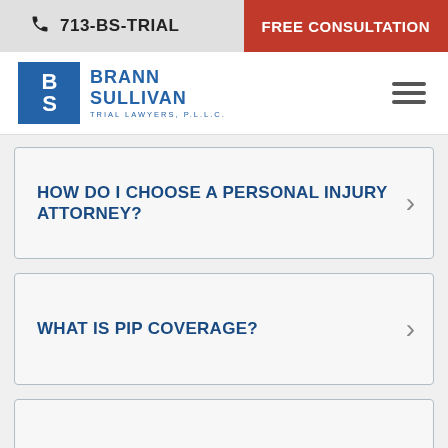713-BS-TRIAL | FREE CONSULTATION
[Figure (logo): Brann Sullivan Trial Lawyers PLLC logo with blue BS monogram box]
HOW DO I CHOOSE A PERSONAL INJURY ATTORNEY?
WHAT IS PIP COVERAGE?
SHOULD I SIGN A RELEASE?